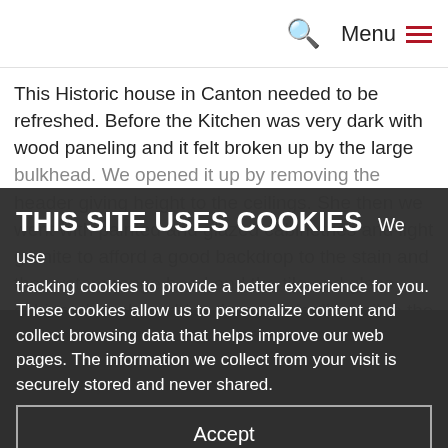Menu
This Historic house in Canton needed to be refreshed. Before the Kitchen was very dark with wood paneling and it felt broken up by the large bulkhead. We opened it up by removing the header giving height to the ceilings. She then we went with painted and glazed cabinetries and light granite to afford a good backdrop to the stain and the custom range hood and the tile and glass cabinet that also add to the open feeling tail to the space.
THIS SITE USES COOKIES  We use tracking cookies to provide a better experience for you. These cookies allow us to personalize content and collect browsing data that helps improve our web pages. The information we collect from your visit is securely stored and never shared.
Accept
Do not accept